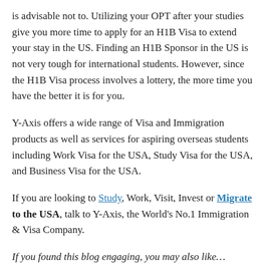is advisable not to. Utilizing your OPT after your studies give you more time to apply for an H1B Visa to extend your stay in the US. Finding an H1B Sponsor in the US is not very tough for international students. However, since the H1B Visa process involves a lottery, the more time you have the better it is for you.
Y-Axis offers a wide range of Visa and Immigration products as well as services for aspiring overseas students including Work Visa for the USA, Study Visa for the USA, and Business Visa for the USA.
If you are looking to Study, Work, Visit, Invest or Migrate to the USA, talk to Y-Axis, the World's No.1 Immigration & Visa Company.
If you found this blog engaging, you may also like…
Application Timeline for US Graduate School Admission